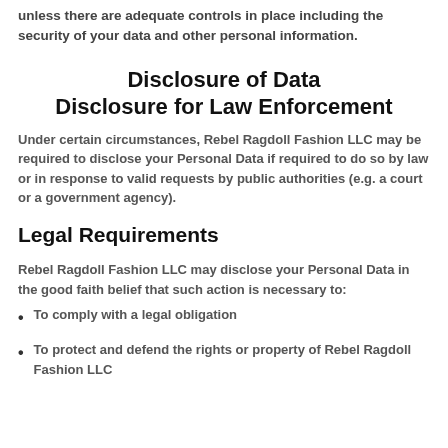unless there are adequate controls in place including the security of your data and other personal information.
Disclosure of Data Disclosure for Law Enforcement
Under certain circumstances, Rebel Ragdoll Fashion LLC may be required to disclose your Personal Data if required to do so by law or in response to valid requests by public authorities (e.g. a court or a government agency).
Legal Requirements
Rebel Ragdoll Fashion LLC may disclose your Personal Data in the good faith belief that such action is necessary to:
To comply with a legal obligation
To protect and defend the rights or property of Rebel Ragdoll Fashion LLC